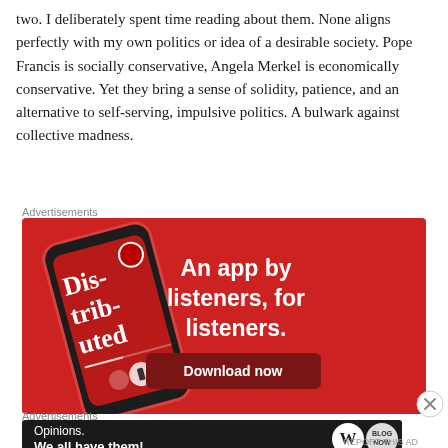two. I deliberately spent time reading about them. None aligns perfectly with my own politics or idea of a desirable society. Pope Francis is socially conservative, Angela Merkel is economically conservative. Yet they bring a sense of solidity, patience, and an alternative to self-serving, impulsive politics. A bulwark against collective madness.
Advertisements
[Figure (illustration): Advertisement for a podcast app on a red background showing a smartphone with 'Distributed' podcast. Text reads 'An app by listeners, for listeners.' with a 'Download now' button.]
Advertisements
[Figure (illustration): Dark advertisement banner reading 'Opinions. We all have them!' with WordPress and another logo on the right.]